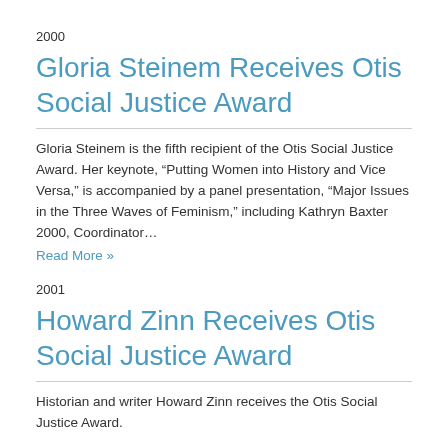2000
Gloria Steinem Receives Otis Social Justice Award
Gloria Steinem is the fifth recipient of the Otis Social Justice Award. Her keynote, “Putting Women into History and Vice Versa,” is accompanied by a panel presentation, “Major Issues in the Three Waves of Feminism,” including Kathryn Baxter 2000, Coordinator…
Read More »
2001
Howard Zinn Receives Otis Social Justice Award
Historian and writer Howard Zinn receives the Otis Social Justice Award.